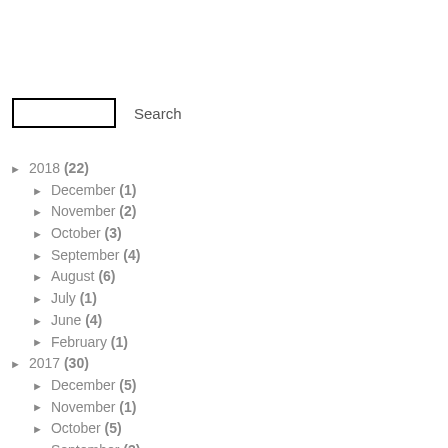[Figure (other): Search input box with Search button label]
► 2018 (22)
► December (1)
► November (2)
► October (3)
► September (4)
► August (6)
► July (1)
► June (4)
► February (1)
► 2017 (30)
► December (5)
► November (1)
► October (5)
► September (3)